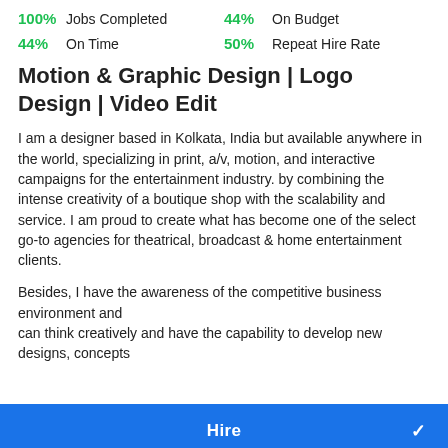100%  Jobs Completed    44%  On Budget
44%  On Time    50%  Repeat Hire Rate
Motion & Graphic Design | Logo Design | Video Edit
I am a designer based in Kolkata, India but available anywhere in the world, specializing in print, a/v, motion, and interactive campaigns for the entertainment industry. by combining the intense creativity of a boutique shop with the scalability and service. I am proud to create what has become one of the select go-to agencies for theatrical, broadcast & home entertainment clients.
Besides, I have the awareness of the competitive business environment and
can think creatively and have the capability to develop new designs, concepts
Hire